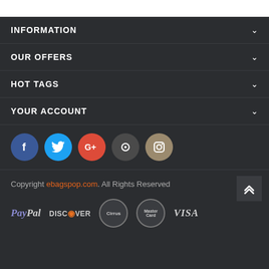INFORMATION
OUR OFFERS
HOT TAGS
YOUR ACCOUNT
[Figure (illustration): Row of social media icon circles: Facebook (blue), Twitter (cyan), Google+ (red), Pinterest (dark gray), Instagram (tan/gold)]
Copyright ebagspop.com. All Rights Reserved
[Figure (illustration): Payment method logos: PayPal, Discover, Cirrus (oval), MasterCard (oval), Visa]